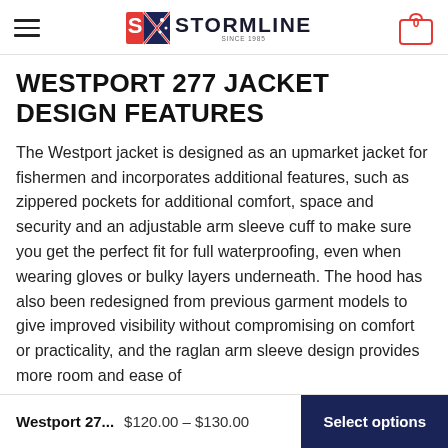STORMLINE (logo with hamburger menu and cart icon showing 0)
WESTPORT 277 JACKET DESIGN FEATURES
The Westport jacket is designed as an upmarket jacket for fishermen and incorporates additional features, such as zippered pockets for additional comfort, space and security and an adjustable arm sleeve cuff to make sure you get the perfect fit for full waterproofing, even when wearing gloves or bulky layers underneath. The hood has also been redesigned from previous garment models to give improved visibility without compromising on comfort or practicality, and the raglan arm sleeve design provides more room and ease of
Westport 27... $120.00 – $130.00  Select options